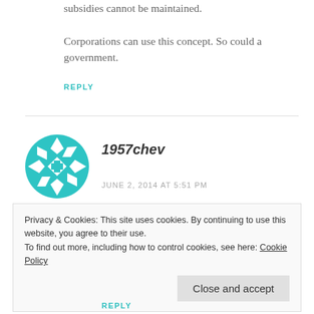subsidies cannot be maintained.

Corporations can use this concept. So could a government.
REPLY
[Figure (illustration): Teal geometric avatar icon with diamond/cross pattern for user 1957chev]
1957chev
JUNE 2, 2014 AT 5:51 PM
Privacy & Cookies: This site uses cookies. By continuing to use this website, you agree to their use. To find out more, including how to control cookies, see here: Cookie Policy
Close and accept
REPLY